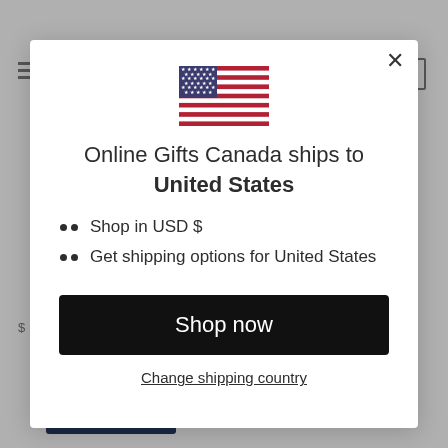[Figure (screenshot): Website background showing partially visible e-commerce page with hamburger menu, cart icon, product thumbnails, and a Try your luck button]
[Figure (illustration): US flag emoji/icon displayed at the top center of the modal]
Online Gifts Canada ships to United States
Shop in USD $
Get shipping options for United States
Shop now
Change shipping country